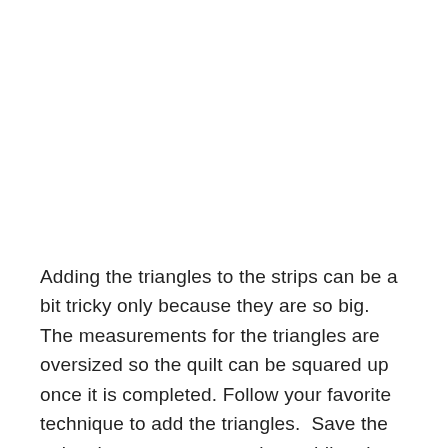Adding the triangles to the strips can be a bit tricky only because they are so big. The measurements for the triangles are oversized so the quilt can be squared up once it is completed. Follow your favorite technique to add the triangles.  Save the strips that are cut away when adding the triangles. These will be used for inner